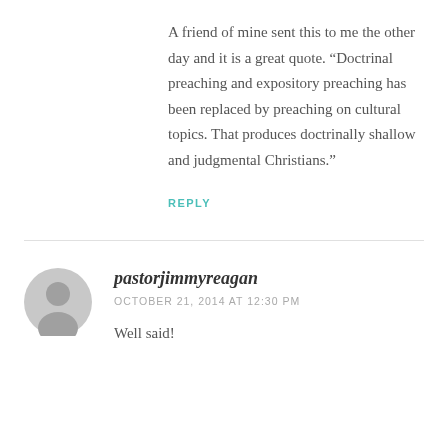A friend of mine sent this to me the other day and it is a great quote. “Doctrinal preaching and expository preaching has been replaced by preaching on cultural topics. That produces doctrinally shallow and judgmental Christians.”
REPLY
pastorjimmyreagan
OCTOBER 21, 2014 AT 12:30 PM
Well said!